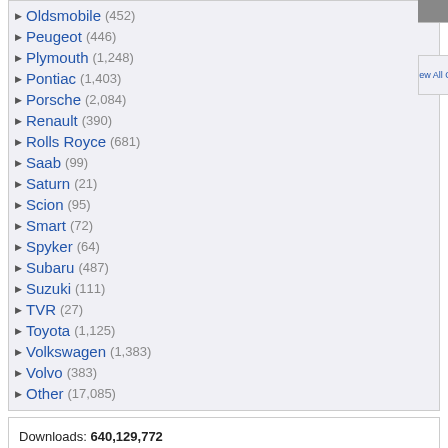Oldsmobile (452)
Peugeot (446)
Plymouth (1,248)
Pontiac (1,403)
Porsche (2,084)
Renault (390)
Rolls Royce (681)
Saab (99)
Saturn (21)
Scion (95)
Smart (72)
Spyker (64)
Subaru (487)
Suzuki (111)
TVR (27)
Toyota (1,125)
Volkswagen (1,383)
Volvo (383)
Other (17,085)
Downloads: 640,129,772
Car Walls: 73,292
All Wallpapers: 1,696,349
Tag Count: 9,948,936
Comments: 1,959,854
Members: 1,565,068
Votes: 12,971,712
5,924 Users Online
103 members, 5,821 guests
AlvaradoSulwen, Anderlecht,
artinconstruction, Astro